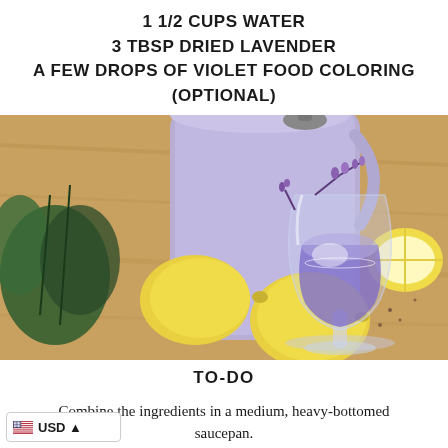1 1/2 CUPS WATER
3 TBSP DRIED LAVENDER
A FEW DROPS OF VIOLET FOOD COLORING (OPTIONAL)
[Figure (photo): A lavender lemonade drink in a round glass goblet garnished with dried lavender sprigs, alongside a large purple pitcher and fresh lemons on a wooden surface.]
TO-DO
Combine the ingredients in a medium, heavy-bottomed saucepan.
USD